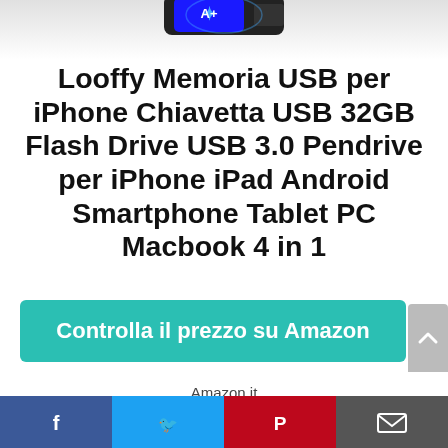[Figure (photo): Partial image of a USB flash drive product at the top of the page, shown from above with the Looffy brand logo visible.]
Looffy Memoria USB per iPhone Chiavetta USB 32GB Flash Drive USB 3.0 Pendrive per iPhone iPad Android Smartphone Tablet PC Macbook 4 in 1
Controlla il prezzo su Amazon
Amazon.it